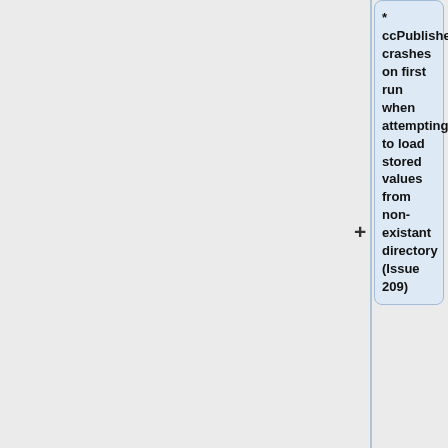* ccPublisher crashes on first run when attempting to load stored values from non-existant directory (Issue 209)
* crashes on Mac OS X reporting that "'argvemulator'' can not be found (Issue 233)
* intermittent crashes when clicking a link to open the web browser (Issue